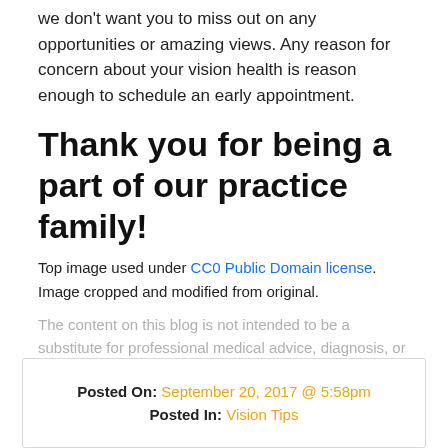we don't want you to miss out on any opportunities or amazing views. Any reason for concern about your vision health is reason enough to schedule an early appointment.
Thank you for being a part of our practice family!
Top image used under CC0 Public Domain license. Image cropped and modified from original.
The content on this blog is not intended to be a substitute for professional medical advice, diagnosis, or treatment. Always seek the advice of qualified health providers with questions you may have regarding medical conditions.
| Posted On: | Posted In: |
| --- | --- |
| September 20, 2017 @ 5:58pm | Vision Tips |